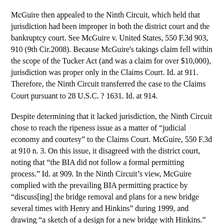McGuire then appealed to the Ninth Circuit, which held that jurisdiction had been improper in both the district court and the bankruptcy court. See McGuire v. United States, 550 F.3d 903, 910 (9th Cir.2008). Because McGuire's takings claim fell within the scope of the Tucker Act (and was a claim for over $10,000), jurisdiction was proper only in the Claims Court. Id. at 911. Therefore, the Ninth Circuit transferred the case to the Claims Court pursuant to 28 U.S.C. ? 1631. Id. at 914.
Despite determining that it lacked jurisdiction, the Ninth Circuit chose to reach the ripeness issue as a matter of “judicial economy and courtesy” to the Claims Court. McGuire, 550 F.3d at 910 n. 3. On this issue, it disagreed with the district court, noting that “the BIA did not follow a formal permitting process.” Id. at 909. In the Ninth Circuit’s view, McGuire complied with the prevailing BIA permitting practice by “discuss[ing] the bridge removal and plans for a new bridge several times with Henry and Hinkins” during 1999, and drawing “a sketch of a design for a new bridge with Hinkins.” Id. In the Ninth Circuit’s view, McGuire “did everything